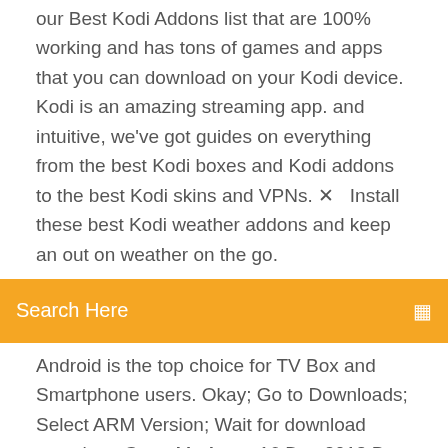our Best Kodi Addons list that are 100% working and has tons of games and apps that you can download on your Kodi device. Kodi is an amazing streaming app. and intuitive, we've got guides on everything from the best Kodi boxes and Kodi addons to the best Kodi skins and VPNs. ✕  Install these best Kodi weather addons and keep an out on weather on the go.
Search Here
Android is the top choice for TV Box and Smartphone users. Okay; Go to Downloads; Select ARM Version; Wait for download complete; Go to My Apps  16 Dec 2018 Best Kodi VPN; Kodi download for Android; Kodi download for Windows screen and will find Kodi under the heading "Yours Apps & Games.". Free download the official Kodi TV App with step by step guide. Kodi Media It is one of the best packages of entertainment one can have. It has compiled all
3 Jan 2020 In this guide, we are going to show you Best Apps